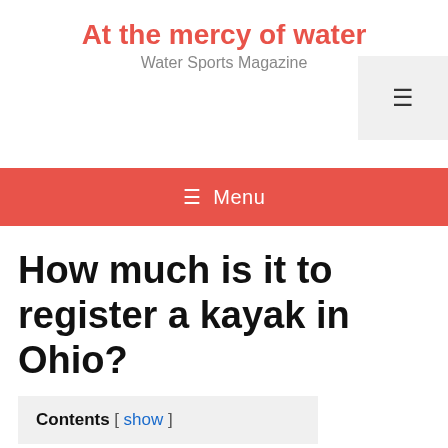At the mercy of water
Water Sports Magazine
[Figure (other): Hamburger menu button icon (three horizontal lines) in a light gray square box, positioned at top right]
≡ Menu
How much is it to register a kayak in Ohio?
Contents [ show ]